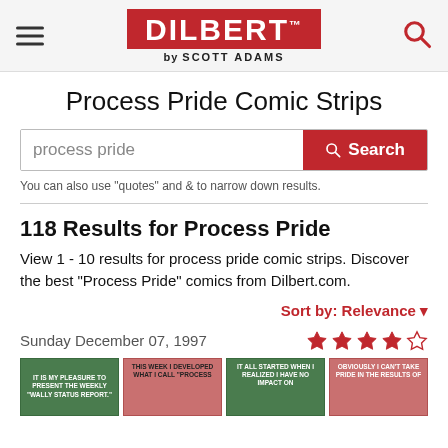DILBERT by SCOTT ADAMS
Process Pride Comic Strips
process pride [Search]
You can also use "quotes" and & to narrow down results.
118 Results for Process Pride
View 1 - 10 results for process pride comic strips. Discover the best "Process Pride" comics from Dilbert.com.
Sort by: Relevance
Sunday December 07, 1997
[Figure (illustration): Four Dilbert comic strip thumbnail panels. Panel 1 (green): 'IT IS MY PLEASURE TO PRESENT THE WEEKLY "WALLY STATUS REPORT."' Panel 2 (pink): 'THIS WEEK I DEVELOPED WHAT I CALL "PROCESS...' Panel 3 (green): 'IT ALL STARTED WHEN I REALIZED I HAVE NO IMPACT ON...' Panel 4 (pink): 'OBVIOUSLY I CAN'T TAKE PRIDE IN THE RESULTS OF...']